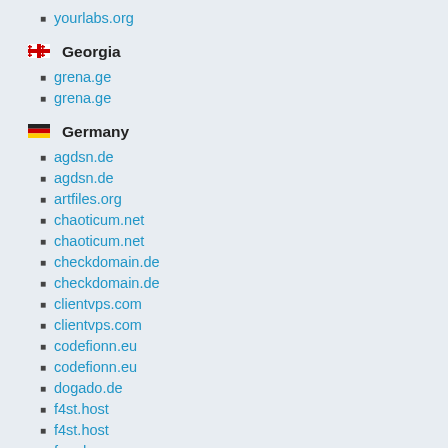yourlabs.org
Georgia
grena.ge
grena.ge
Germany
agdsn.de
agdsn.de
artfiles.org
chaoticum.net
chaoticum.net
checkdomain.de
checkdomain.de
clientvps.com
clientvps.com
codefionn.eu
codefionn.eu
dogado.de
f4st.host
f4st.host
fau.de
fau.de
fef.moe
fem.tu-ilmenau.de
gnomus.de